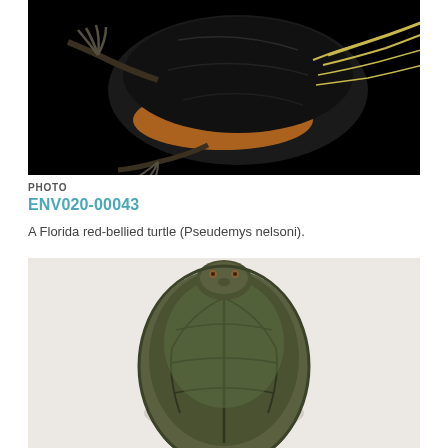[Figure (photo): A Florida red-bellied turtle (Pseudemys nelsoni) photographed against a black background, showing the underside and legs of the turtle.]
PHOTO
ENV020-00043
A Florida red-bellied turtle (Pseudemys nelsoni).
[Figure (photo): A turtle viewed from above on a light grey/white background, showing the top of the shell (carapace) with green and dark brown patterning.]